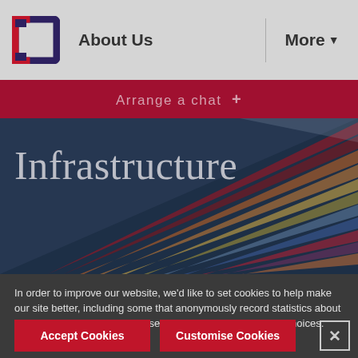About Us | More
Arrange a chat +
Infrastructure
[Figure (photo): Angled architectural photo showing colorful building facade with striped panels in red, orange, yellow, and blue tones against a dark background]
In order to improve our website, we'd like to set cookies to help make our site better, including some that anonymously record statistics about your visit. You can accept these cookies or customise your choices.
Accept Cookies
Customise Cookies